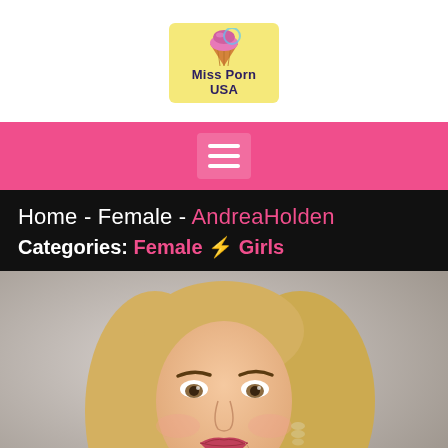[Figure (logo): Miss Porn USA logo: ice cream cone on yellow background with text 'Miss Porn USA']
Navigation menu (hamburger icon)
Home - Female - AndreaHolden
Categories: Female ⚡ Girls
[Figure (photo): Portrait photo of a blonde woman with light brown eyes, wearing pink lipstick and dangling earrings, smiling slightly against a grey background]